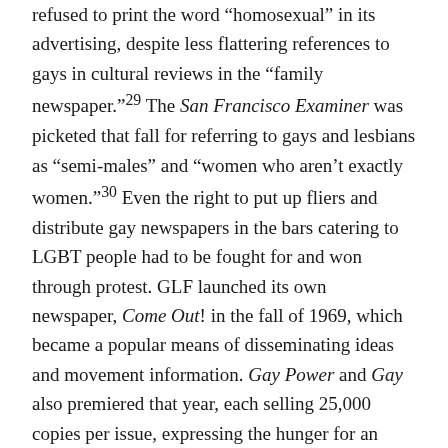refused to print the word “homosexual” in its advertising, despite less flattering references to gays in cultural reviews in the “family newspaper.”²⁹ The San Francisco Examiner was picketed that fall for referring to gays and lesbians as “semi-males” and “women who aren’t exactly women.”³⁰ Even the right to put up fliers and distribute gay newspapers in the bars catering to LGBT people had to be fought for and won through protest. GLF launched its own newspaper, Come Out! in the fall of 1969, which became a popular means of disseminating ideas and movement information. Gay Power and Gay also premiered that year, each selling 25,000 copies per issue, expressing the hunger for an independent LGBT press.³¹
Later that year, a group of activists split from the GLF and formed a new organization, the Gay Activists